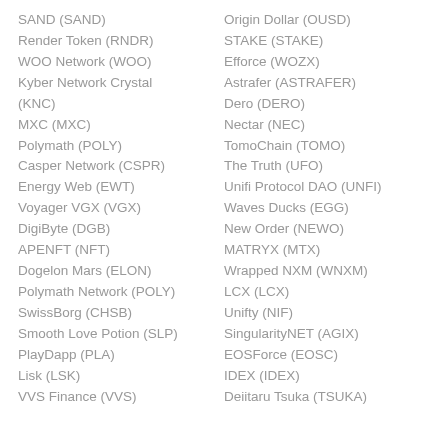SAND (SAND)
Origin Dollar (OUSD)
Render Token (RNDR)
STAKE (STAKE)
WOO Network (WOO)
Efforce (WOZX)
Kyber Network Crystal (KNC)
Astrafer (ASTRAFER)
Dero (DERO)
MXC (MXC)
Nectar (NEC)
Polymath (POLY)
TomoChain (TOMO)
Casper Network (CSPR)
The Truth (UFO)
Energy Web (EWT)
Unifi Protocol DAO (UNFI)
Voyager VGX (VGX)
Waves Ducks (EGG)
DigiByte (DGB)
New Order (NEWO)
APENFT (NFT)
MATRYX (MTX)
Dogelon Mars (ELON)
Wrapped NXM (WNXM)
Polymath Network (POLY)
LCX (LCX)
SwissBorg (CHSB)
Unifty (NIF)
Smooth Love Potion (SLP)
SingularityNET (AGIX)
PlayDapp (PLA)
EOSForce (EOSC)
Lisk (LSK)
IDEX (IDEX)
VVS Finance (VVS)
Deiitaru Tsuka (TSUKA)